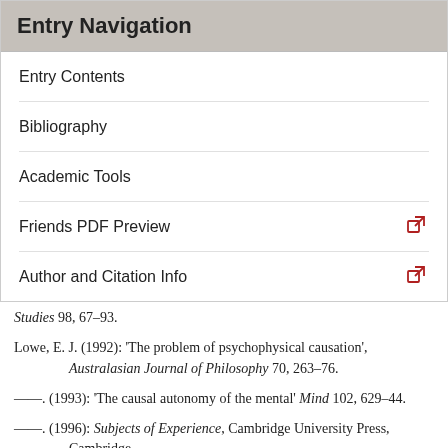Entry Navigation
Entry Contents
Bibliography
Academic Tools
Friends PDF Preview
Author and Citation Info
Studies 98, 67–93.
Lowe, E. J. (1992): 'The problem of psychophysical causation', Australasian Journal of Philosophy 70, 263–76.
——. (1993): 'The causal autonomy of the mental' Mind 102, 629–44.
——. (1996): Subjects of Experience, Cambridge University Press, Cambridge.
——. (2006): 'Non-Cartesian substance dualism and the problem of mental causation', Erkenntnis 65 (1): 5...